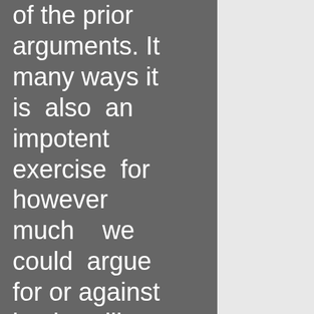of the prior arguments. It many ways it is also an impotent exercise for however much we could argue for or against it, it will happen regardless. We have lived in a decade